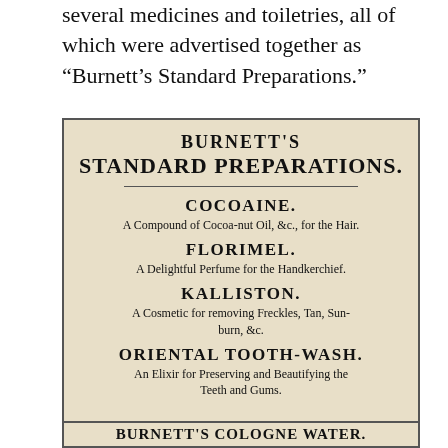several medicines and toiletries, all of which were advertised together as “Burnett’s Standard Preparations.”
[Figure (illustration): A historical newspaper advertisement for Burnett's Standard Preparations listing: Cocoaine (A Compound of Cocoa-nut Oil, &c., for the Hair), Florimel (A Delightful Perfume for the Handkerchief), Kalliston (A Cosmetic for removing Freckles, Tan, Sunburn, &c.), Oriental Tooth-Wash (An Elixir for Preserving and Beautifying the Teeth and Gums), and Burnett's Cologne Water (partially visible).]